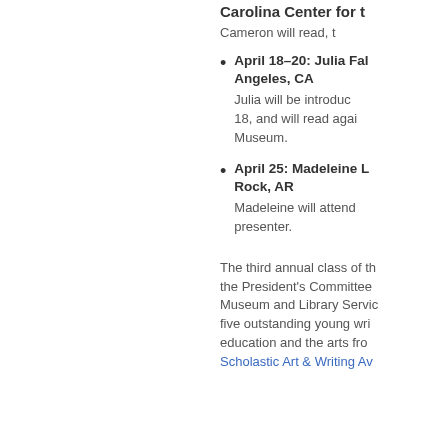Carolina Center for
Cameron will read, t
April 18–20: Julia Fal... Angeles, CA
Julia will be introduc... 18, and will read agai... Museum.
April 25: Madeleine L... Rock, AR
Madeleine will attend... presenter.
The third annual class of th... the President's Committee... Museum and Library Servic... five outstanding young wri... education and the arts fro...
Scholastic Art & Writing Av